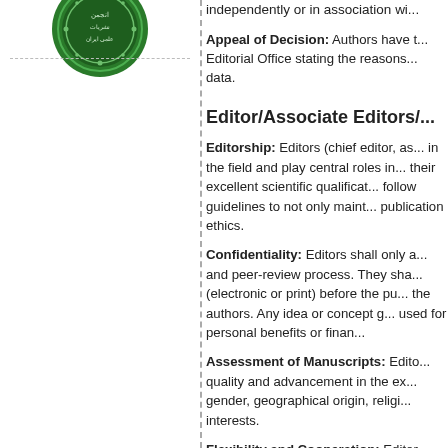[Figure (logo): Green circular logo with Arabic text and decorative border]
independently or in association wi...
Appeal of Decision: Authors have t... Editorial Office stating the reasons... data.
Editor/Associate Editors/...
Editorship: Editors (chief editor, as... in the field and play central roles in... their excellent scientific qualificat... follow guidelines to not only maint... publication ethics.
Confidentiality: Editors shall only a... and peer-review process. They sha... (electronic or print) before the pu... the authors. Any idea or concept g... used for personal benefits or finan...
Assessment of Manuscripts: Edito... quality and advancement in the ex... gender, geographical origin, religi... interests.
Flexibility and Cooperation: Editor...